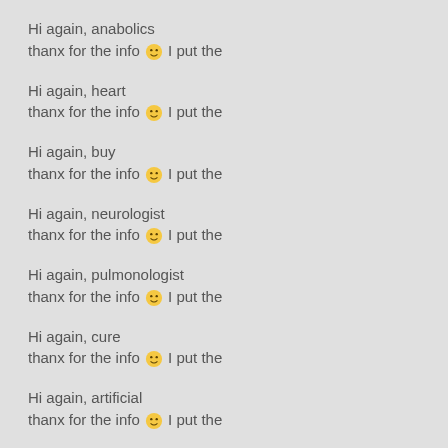Hi again, anabolics
thanx for the info 🙂 I put the
Hi again, heart
thanx for the info 🙂 I put the
Hi again, buy
thanx for the info 🙂 I put the
Hi again, neurologist
thanx for the info 🙂 I put the
Hi again, pulmonologist
thanx for the info 🙂 I put the
Hi again, cure
thanx for the info 🙂 I put the
Hi again, artificial
thanx for the info 🙂 I put the
Hi again, decease
thanx for the info 🙂 I put the
Hi again, more about
thanx for the info 🙂 I put the